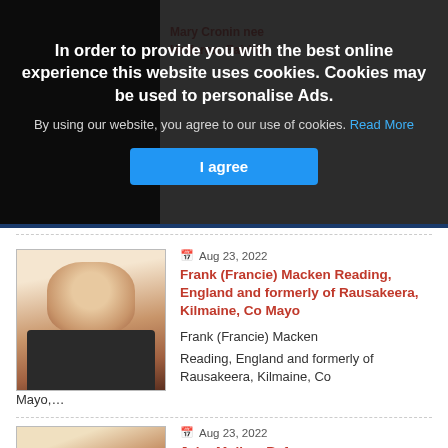In order to provide you with the best online experience this website uses cookies. Cookies may be used to personalise Ads.
By using our website, you agree to our use of cookies. Read More
I agree
Aug 23, 2022
Frank (Francie) Macken Reading, England and formerly of Rausakeera, Kilmaine, Co Mayo
Frank (Francie) Macken
Reading, England and formerly of Rausakeera, Kilmaine, Co Mayo,...
Aug 23, 2022
John Mullan, Ballynagun...